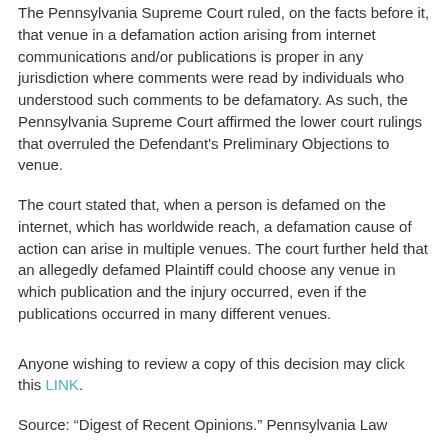The Pennsylvania Supreme Court ruled, on the facts before it, that venue in a defamation action arising from internet communications and/or publications is proper in any jurisdiction where comments were read by individuals who understood such comments to be defamatory. As such, the Pennsylvania Supreme Court affirmed the lower court rulings that overruled the Defendant's Preliminary Objections to venue.
The court stated that, when a person is defamed on the internet, which has worldwide reach, a defamation cause of action can arise in multiple venues. The court further held that an allegedly defamed Plaintiff could choose any venue in which publication and the injury occurred, even if the publications occurred in many different venues.
Anyone wishing to review a copy of this decision may click this LINK.
Source: “Digest of Recent Opinions.” Pennsylvania Law